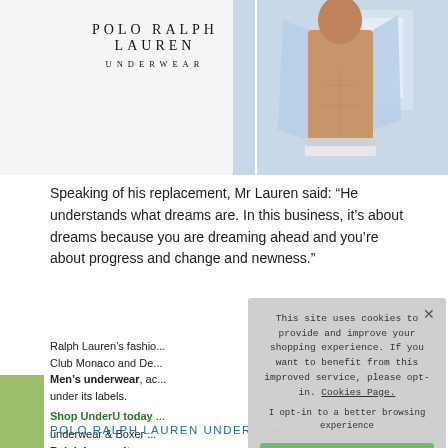[Figure (photo): Polo Ralph Lauren Underwear advertisement with brand logo on left and male model on right wearing white underwear and open light blue shirt]
Speaking of his replacement, Mr Lauren said: “He understands what dreams are. In this business, it’s about dreams because you are dreaming ahead and you’re about progress and change and newness.”
Ralph Lauren’s fashion... Club Monaco and De... Men’s underwear, ac... under its labels.
Shop UnderU today ... underwear & Boxer ... Ralph Lauren Item n...
[Figure (screenshot): Cookie consent modal overlay with text: This site uses cookies to provide and improve your shopping experience. If you want to benefit from this improved service, please opt-in. Cookies Page. I opt-in to a better browsing experience. ACCEPT COOKIES button in green.]
POLO RALPH LAUREN UNDERWEAR